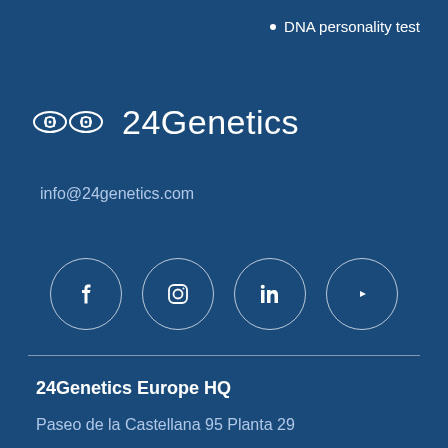DNA personality test
[Figure (logo): 24Genetics logo with two overlapping DNA/eye icons followed by the text '24Genetics']
info@24genetics.com
[Figure (infographic): Four social media icons in white circles: Facebook, Instagram, LinkedIn, YouTube]
24Genetics Europe HQ
Paseo de la Castellana 95 Planta 29